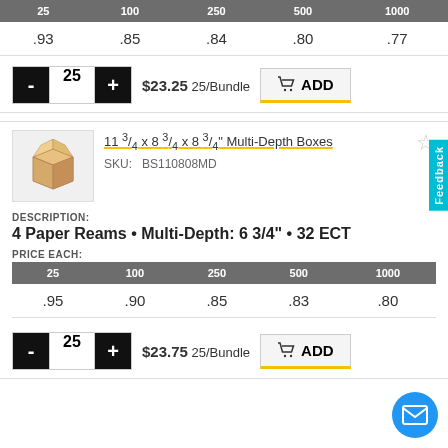| 25 | 100 | 250 | 500 | 1000 |
| --- | --- | --- | --- | --- |
| .93 | .85 | .84 | .80 | .77 |
$23.25 25/Bundle
ADD
[Figure (photo): Brown cardboard shipping box, open top]
11 3/4 x 8 3/4 x 8 3/4" Multi-Depth Boxes
SKU: BS110808MD
DESCRIPTION:
4 Paper Reams • Multi-Depth: 6 3/4" • 32 ECT
PRICE EACH:
| 25 | 100 | 250 | 500 | 1000 |
| --- | --- | --- | --- | --- |
| .95 | .90 | .85 | .83 | .80 |
$23.75 25/Bundle
ADD